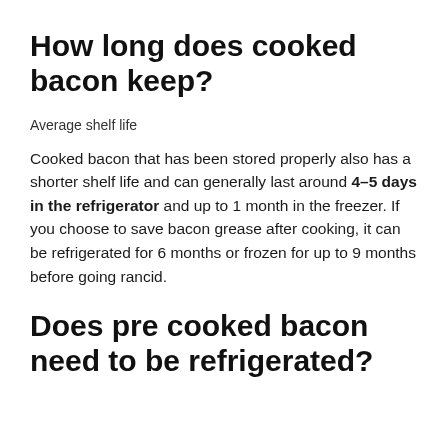How long does cooked bacon keep?
Average shelf life
Cooked bacon that has been stored properly also has a shorter shelf life and can generally last around 4–5 days in the refrigerator and up to 1 month in the freezer. If you choose to save bacon grease after cooking, it can be refrigerated for 6 months or frozen for up to 9 months before going rancid.
Does pre cooked bacon need to be refrigerated?